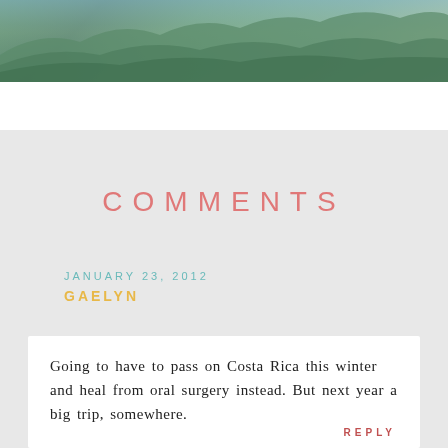[Figure (photo): Aerial or elevated view of forested green mountains/hills, partially visible at the top of the page]
COMMENTS
JANUARY 23, 2012
GAELYN
Going to have to pass on Costa Rica this winter and heal from oral surgery instead. But next year a big trip, somewhere.
REPLY